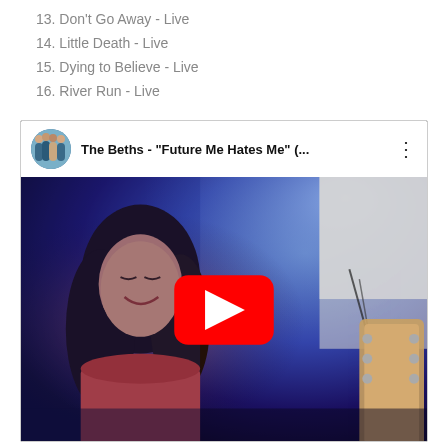13. Don't Go Away - Live
14. Little Death - Live
15. Dying to Believe - Live
16. River Run - Live
[Figure (screenshot): YouTube video embed showing The Beths - 'Future Me Hates Me' (... with a live performance thumbnail featuring a woman with dark hair smiling, a guitar visible on the right, and a YouTube play button overlay. The video header shows the channel avatar (band photo), video title, and options menu.]